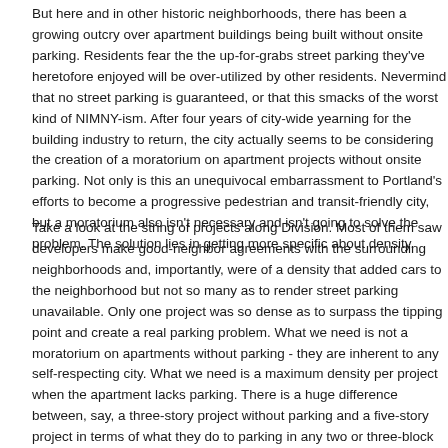But here and in other historic neighborhoods, there has been a growing outcry over apartment buildings being built without onsite parking. Residents fear that the up-for-grabs street parking they've heretofore enjoyed will be over-utilized by other residents. Nevermind that no street parking is guaranteed, or that this smacks of the worst kind of NIMNY-ism. After four years of city-wide yearning for the building industry to return, the city actually seems to be considering the creation of a moratorium on apartment projects without onsite parking. Not only is this an unequivocal embarrassment to Portland's efforts to become a progressive pedestrian and transit-friendly city, but a moratorium also isn't necessary and isn't going to solve the problem. The solution lies in getting more specific about density.
Take a look at the string of projects along Division. Most of them saw developers make good-neighbor agreements with the surrounding neighborhoods and, importantly, were of a density that added cars to the neighborhood but not so many as to render street parking unavailable. Only one project was so dense as to surpass the tipping point and create a real parking problem. What we need is not a moratorium on apartments without parking - they are inherent to any self-respecting city. What we need is a maximum density per project when the apartment lacks parking. There is a huge difference between, say, a three-story project without parking and a five-story project in terms of what they do to parking in any two or three-block radius. What we need is not a heavy-handed move that hinders smart development, I'd argue, but a nuanced move that articulates sustainable density from unsustainable.